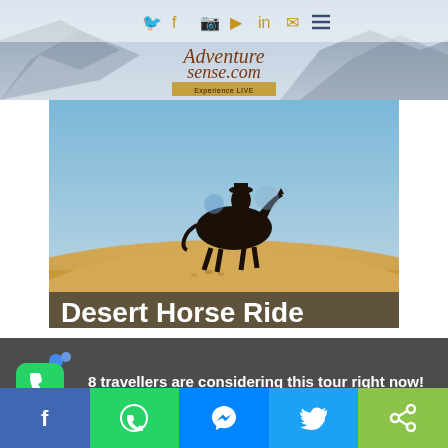[Figure (screenshot): AdventureSense.com website header with mountain background and logo]
[Figure (photo): Person on horseback silhouetted against blue sky on desert sand dune, with partial text overlay 'Desert Horse Ride']
8 travellers are considering this tour right now!
[Figure (infographic): Social sharing bar with Facebook, WhatsApp, Messenger, Twitter, and share icons]